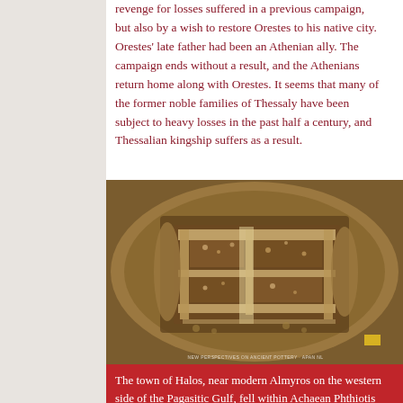revenge for losses suffered in a previous campaign, but also by a wish to restore Orestes to his native city. Orestes' late father had been an Athenian ally. The campaign ends without a result, and the Athenians return home along with Orestes. It seems that many of the former noble families of Thessaly have been subject to heavy losses in the past half a century, and Thessalian kingship suffers as a result.
[Figure (photo): Aerial photograph of an ancient archaeological excavation site showing stone foundations and walls of the town of Halos, near modern Almyros on the western side of the Pagasitic Gulf. The ruins show rectangular room structures surrounded by brown earth. Watermark reads: NEW PERSPECTIVES ON ANCIENT POTTERY / APAN NL]
The town of Halos, near modern Almyros on the western side of the Pagasitic Gulf, fell within Achaean Phthiotis and was occupied from the early tenth century BC onwards